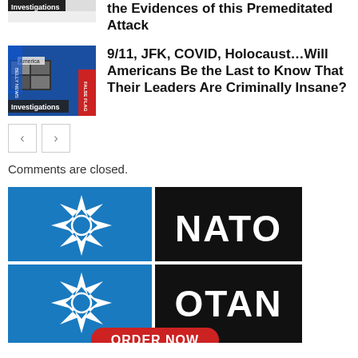[Figure (screenshot): Thumbnail image with Investigations label and partial article about premeditated attack]
the Evidences of this Premeditated Attack
[Figure (screenshot): Thumbnail image showing America/False Flag collage with Investigations label]
9/11, JFK, COVID, Holocaust…Will Americans Be the Last to Know That Their Leaders Are Criminally Insane?
Comments are closed.
[Figure (logo): NATO / OTAN logo banner with ORDER NOW button at bottom]